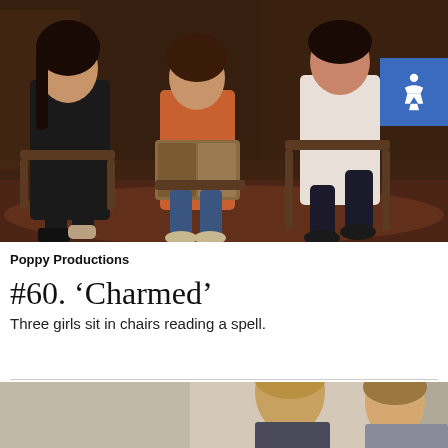[Figure (photo): Three women sitting in chairs in a dimly lit room. The woman on the left wears black, the woman in the middle holds an open book/journal and wears an orange top, and the woman on the right wears a white patterned top. They appear to be in a vintage-style room with warm tones.]
Poppy Productions
#60. ‘Charmed’
Three girls sit in chairs reading a spell.
[Figure (photo): Partial view of the bottom of the page showing what appears to be two men outdoors, with a notification bell icon overlay in the top right corner of the photo area.]